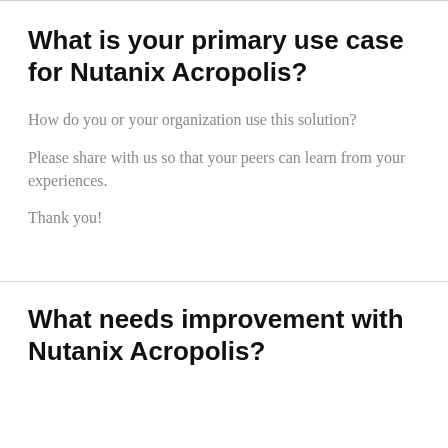What is your primary use case for Nutanix Acropolis?
How do you or your organization use this solution?
Please share with us so that your peers can learn from your experiences.
Thank you!
What needs improvement with Nutanix Acropolis?